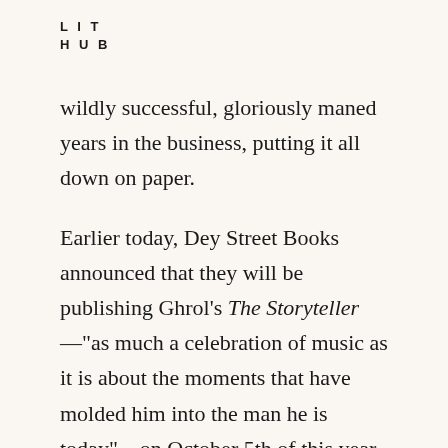LIT
HUB
wildly successful, gloriously maned years in the business, putting it all down on paper.
Earlier today, Dey Street Books announced that they will be publishing Ghrol's The Storyteller—"as much a celebration of music as it is about the moments that have molded him into the man he is today"—on October 5th of this year.
Tragically, because I was seven and living in Ireland at the time Cobain died, I never got to see Nirvana play live, but I have had the distinct pleasure of seeing Foo Fighters